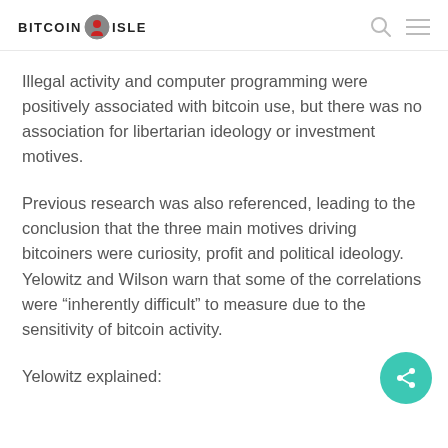BITCOIN ISLE
Illegal activity and computer programming were positively associated with bitcoin use, but there was no association for libertarian ideology or investment motives.
Previous research was also referenced, leading to the conclusion that the three main motives driving bitcoiners were curiosity, profit and political ideology. Yelowitz and Wilson warn that some of the correlations were “inherently difficult” to measure due to the sensitivity of bitcoin activity.
Yelowitz explained: